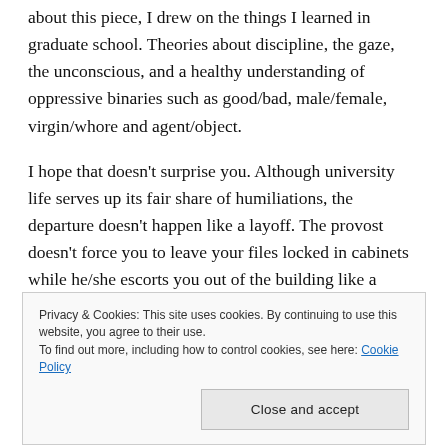about this piece, I drew on the things I learned in graduate school. Theories about discipline, the gaze, the unconscious, and a healthy understanding of oppressive binaries such as good/bad, male/female, virgin/whore and agent/object.
I hope that doesn’t surprise you. Although university life serves up its fair share of humiliations, the departure doesn’t happen like a layoff. The provost doesn’t force you to leave your files locked in cabinets while he/she escorts you out of the building like a
Privacy & Cookies: This site uses cookies. By continuing to use this website, you agree to their use.
To find out more, including how to control cookies, see here: Cookie Policy
Close and accept
Mother Show. That means I addressed more people in